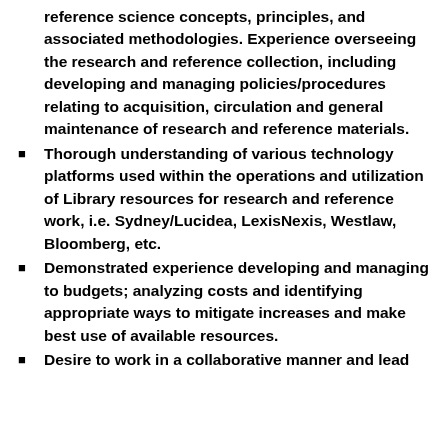reference science concepts, principles, and associated methodologies. Experience overseeing the research and reference collection, including developing and managing policies/procedures relating to acquisition, circulation and general maintenance of research and reference materials.
Thorough understanding of various technology platforms used within the operations and utilization of Library resources for research and reference work, i.e. Sydney/Lucidea, LexisNexis, Westlaw, Bloomberg, etc.
Demonstrated experience developing and managing to budgets; analyzing costs and identifying appropriate ways to mitigate increases and make best use of available resources.
Desire to work in a collaborative manner and lead